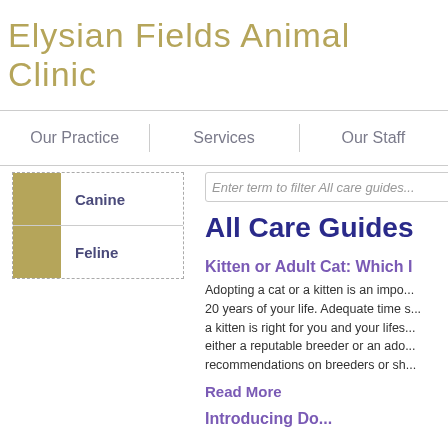Elysian Fields Animal Clinic
Our Practice | Services | Our Staff
Canine
Feline
Enter term to filter All care guides...
All Care Guides
Kitten or Adult Cat: Which I
Adopting a cat or a kitten is an impo... 20 years of your life. Adequate time s... a kitten is right for you and your lifes... either a reputable breeder or an ado... recommendations on breeders or sh...
Read More
Introducing Do...